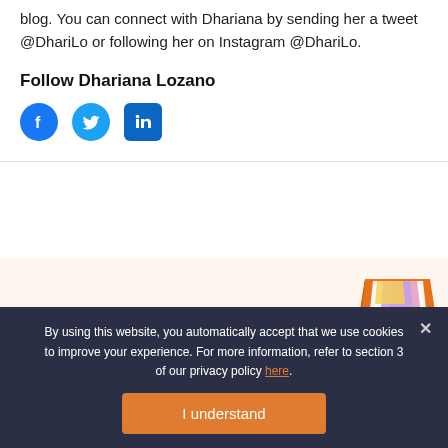blog. You can connect with Dhariana by sending her a tweet @DhariLo or following her on Instagram @DhariLo.
Follow Dhariana Lozano
[Figure (illustration): Social media icons: Facebook (blue circle), Twitter (blue circle), LinkedIn (blue rounded square)]
[Figure (photo): Orange desk organizer tray with colorful papers/sticky notes inside, on a light background promotional band]
Keep up to date with social media marketing!
By using this website, you automatically accept that we use cookies to improve your experience. For more information, refer to section 3 of our privacy policy here.
I understand